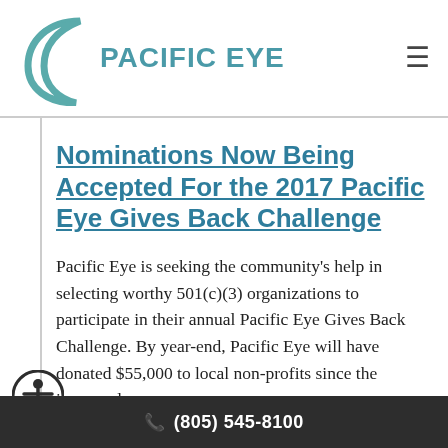[Figure (logo): Pacific Eye logo with teal crescent/C shape and text PACIFIC EYE]
Nominations Now Being Accepted For the 2017 Pacific Eye Gives Back Challenge
Pacific Eye is seeking the community's help in selecting worthy 501(c)(3) organizations to participate in their annual Pacific Eye Gives Back Challenge. By year-end, Pacific Eye will have donated $55,000 to local non-profits since the inaugural
(805) 545-8100